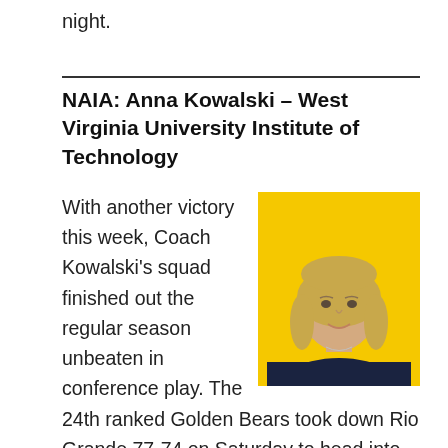night.
NAIA: Anna Kowalski – West Virginia University Institute of Technology
[Figure (photo): Headshot of a woman with blonde hair wearing a dark top, photographed against a yellow background.]
With another victory this week, Coach Kowalski's squad finished out the regular season unbeaten in conference play. The 24th ranked Golden Bears took down Rio Grande 77-74 on Saturday to head into the RSC Tournament having won 18 straight games. With a record of 24-6 (16-0 RSC), WVU Tech